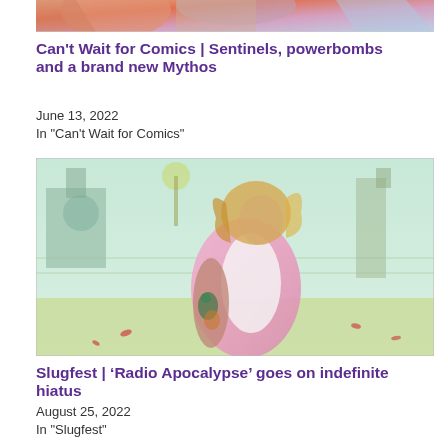[Figure (illustration): Top cropped comic book illustration showing colorful characters, partially visible at top of page]
Can't Wait for Comics | Sentinels, powerbombs and a brand new Mythos
June 13, 2022
In "Can't Wait for Comics"
[Figure (illustration): Comic book illustration of a tattooed person with flowing hair looking downward in an industrial setting with chain-link fence, pink and green color palette]
Slugfest | ‘Radio Apocalypse’ goes on indefinite hiatus
August 25, 2022
In "Slugfest"